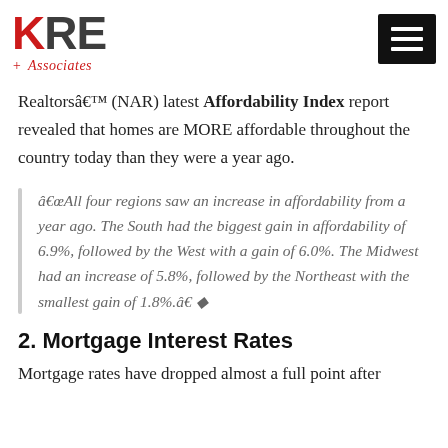KRE + Associates logo and menu button
Realtorsâ (NAR) latest Affordability Index report revealed that homes are MORE affordable throughout the country today than they were a year ago.
âAll four regions saw an increase in affordability from a year ago. The South had the biggest gain in affordability of 6.9%, followed by the West with a gain of 6.0%. The Midwest had an increase of 5.8%, followed by the Northeast with the smallest gain of 1.8%.â
2. Mortgage Interest Rates
Mortgage rates have dropped almost a full point after